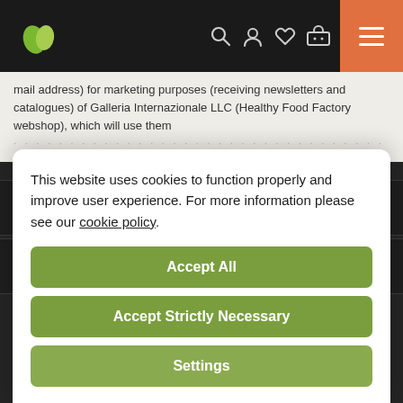Healthy Food Factory webshop navigation bar
mail address) for marketing purposes (receiving newsletters and catalogues) of Galleria Internazionale LLC (Healthy Food Factory webshop), which will use them ...
Healthy Food Factory
Terms & Conditions
This website uses cookies to function properly and improve user experience. For more information please see our cookie policy.
Accept All
Accept Strictly Necessary
Settings